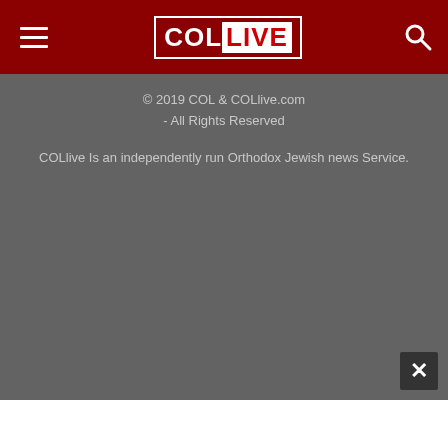COL LIVE
© 2019 COL & COLlive.com - All Rights Reserved
COLlive Is an independently run Orthodox Jewish news Service.